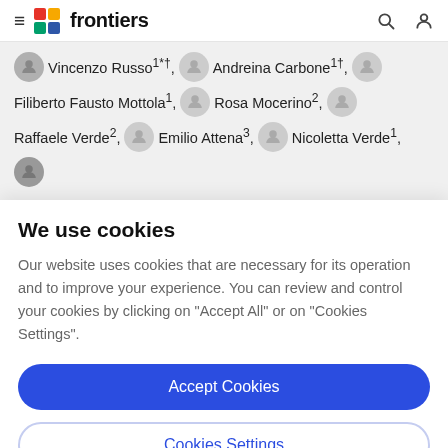frontiers
Vincenzo Russo1*†, Andreina Carbone1†, Filiberto Fausto Mottola1, Rosa Mocerino2, Raffaele Verde2, Emilio Attena3, Nicoletta Verde1,
We use cookies
Our website uses cookies that are necessary for its operation and to improve your experience. You can review and control your cookies by clicking on "Accept All" or on "Cookies Settings".
Accept Cookies
Cookies Settings